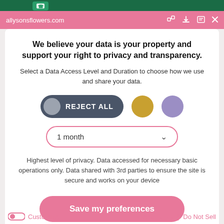allysonsflowers.com
We believe your data is your property and support your right to privacy and transparency.
Select a Data Access Level and Duration to choose how we use and share your data.
REJECT ALL
1 month
Highest level of privacy. Data accessed for necessary basic operations only. Data shared with 3rd parties to ensure the site is secure and works on your device
Save my preferences
Customize  |  Privacy policy  |  Do Not Sell